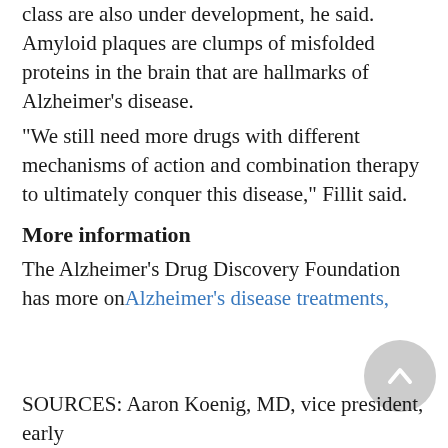class are also under development, he said. Amyloid plaques are clumps of misfolded proteins in the brain that are hallmarks of Alzheimer's disease.
"We still need more drugs with different mechanisms of action and combination therapy to ultimately conquer this disease," Fillit said.
More information
The Alzheimer's Drug Discovery Foundation has more on Alzheimer's disease treatments,
SOURCES: Aaron Koenig, MD, vice president, early